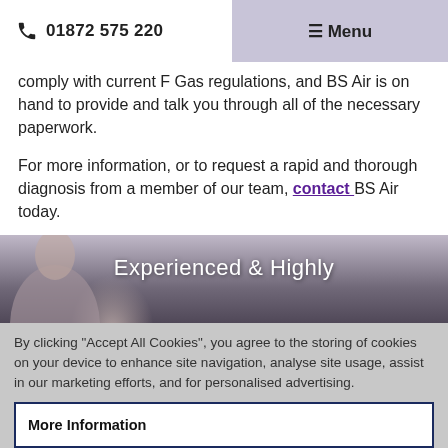01872 575 220  ≡ Menu
comply with current F Gas regulations, and BS Air is on hand to provide and talk you through all of the necessary paperwork.
For more information, or to request a rapid and thorough diagnosis from a member of our team, contact BS Air today.
[Figure (photo): A person working, partially visible, with overlay text reading 'Experienced & Highly']
By clicking "Accept All Cookies", you agree to the storing of cookies on your device to enhance site navigation, analyse site usage, assist in our marketing efforts, and for personalised advertising.
More Information
Accept All Cookies